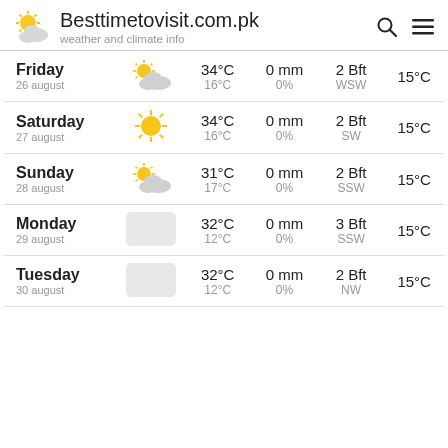Besttimetovisit.com.pk – weather and climate info
| Day | Icon | Temp High/Low | Rain | Wind | UV |
| --- | --- | --- | --- | --- | --- |
| Friday
26 august | partly cloudy | 34°C / 16°C | 0 mm / 0% | 2 Bft / WSW | 15°C |
| Saturday
27 august | sunny | 34°C / 16°C | 0 mm / 0% | 2 Bft / SW | 15°C |
| Sunday
28 august | partly cloudy | 31°C / 17°C | 0 mm / 0% | 2 Bft / SSW | 15°C |
| Monday
29 august | cloudy | 32°C / 12°C | 0 mm / 0% | 3 Bft / SSW | 15°C |
| Tuesday
30 august | cloudy | 32°C / 12°C | 0 mm / 0% | 2 Bft / NW | 15°C |